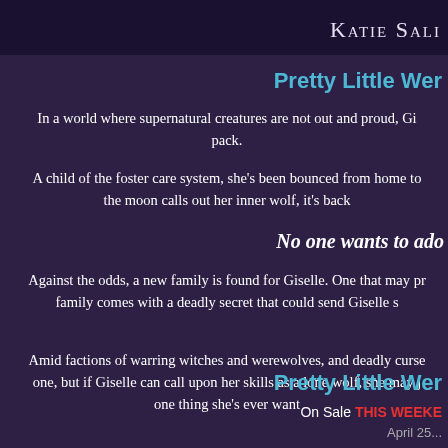Katie Sali
Pretty Little Wer
In a world where supernatural creatures are not out and proud, Gi... pack.
A child of the foster care system, she's been bounced from home to... the moon calls out her inner wolf, it's back...
No one wants to ado
Against the odds, a new family is found for Giselle. One that may pr... family comes with a deadly secret that could send Giselle s...
Amid factions of warring witches and werewolves, and deadly curse... one, but if Giselle can call upon her skills as a lone wolf, she may j... one thing she's ever want...
Pretty Little Wer
On Sale THIS WEEKE...
April 25...